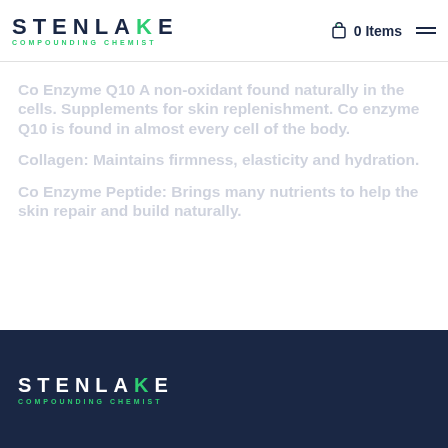STENLAKE COMPOUNDING CHEMIST — 0 Items
Co Enzyme Q10 A non-oxidant found naturally in the cells. Supplements for skin replenishment. Co enzyme Q10 is found in almost every cell of the body.
Collagen: Maintains firmness, elasticity and hydration.
Co Enzyme Peptide: Brings many nutrients to help the skin repair and build naturally.
STENLAKE COMPOUNDING CHEMIST